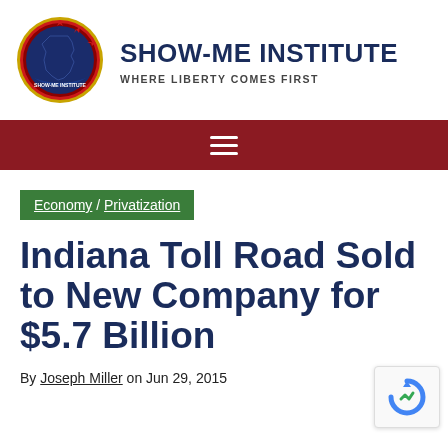[Figure (logo): Show-Me Institute circular logo with Missouri state outline in navy blue on red background with gold border and text 'Show-Me Institute' around the circle]
SHOW-ME INSTITUTE
WHERE LIBERTY COMES FIRST
Navigation menu bar (hamburger icon)
Economy / Privatization
Indiana Toll Road Sold to New Company for $5.7 Billion
By Joseph Miller on Jun 29, 2015